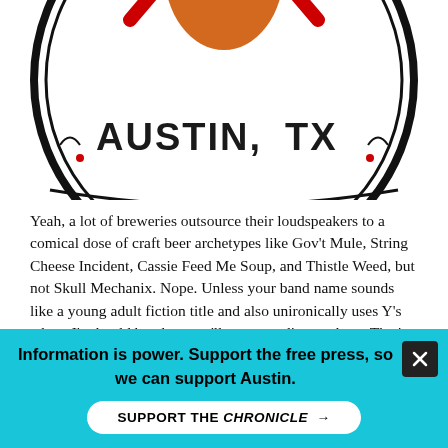[Figure (logo): Partial circular logo showing 'AUSTIN, TX' text with illustrated character, black border, colorful design — brewery logo cropped at top]
Yeah, a lot of breweries outsource their loudspeakers to a comical dose of craft beer archetypes like Gov't Mule, String Cheese Incident, Cassie Feed Me Soup, and Thistle Weed, but not Skull Mechanix. Nope. Unless your band name sounds like a young adult fiction title and also unironically uses Y's where I's should be, then you'll get no audio run there. That's because SM built their entire beer castle out of [falsetto screech] METAAAAAL, from their musical programming to their resonant, county coliseum-like taproom, to their impressive range of beer styles, each of which is an industrial-grade head banger.
If you were coming for "Peggy Ann McKoy: AMA"
Information is power. Support the free press, so we can support Austin.
SUPPORT THE CHRONICLE →